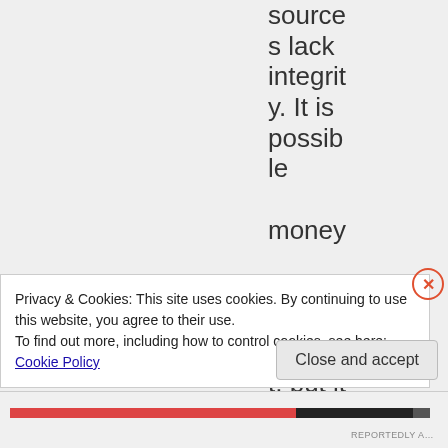sources lack integrity. It is possible money can corrupt, but it is not
Privacy & Cookies: This site uses cookies. By continuing to use this website, you agree to their use.
To find out more, including how to control cookies, see here: Cookie Policy
Close and accept